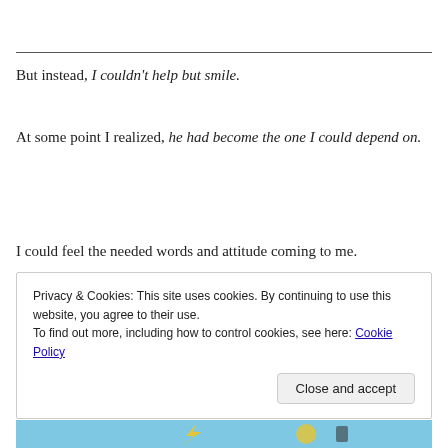But instead, I couldn't help but smile.
At some point I realized, he had become the one I could depend on.
I could feel the needed words and attitude coming to me.
Privacy & Cookies: This site uses cookies. By continuing to use this website, you agree to their use. To find out more, including how to control cookies, see here: Cookie Policy
Close and accept
[Figure (illustration): Bottom strip showing a colorful illustrated scene, partially visible]